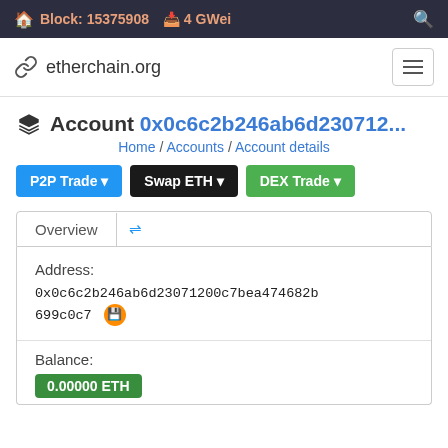Block: 15375908  4 GWei
etherchain.org
Account 0x0c6c2b246ab6d230712...
Home / Accounts / Account details
P2P Trade
Swap ETH
DEX Trade
Overview
Address:
0x0c6c2b246ab6d23071200c7bea474682b699c0c7
Balance:
0.00000 ETH